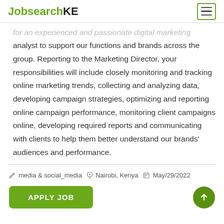JobsearchKE
for an experienced and passionate digital marketing analyst to support our functions and brands across the group. Reporting to the Marketing Director, your responsibilities will include closely monitoring and tracking online marketing trends, collecting and analyzing data, developing campaign strategies, optimizing and reporting online campaign performance, monitoring client campaigns online, developing required reports and communicating with clients to help them better understand our brands' audiences and performance.
media & social_media  Nairobi, Kenya  May/29/2022